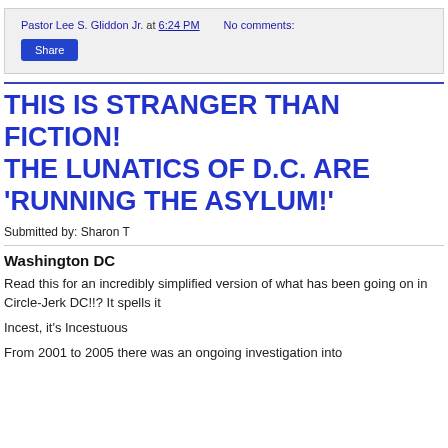Pastor Lee S. Gliddon Jr. at 6:24 PM   No comments:
Share
THIS IS STRANGER THAN FICTION! THE LUNATICS OF D.C. ARE 'RUNNING THE ASYLUM!'
Submitted by: Sharon T
Washington DC
Read this for an incredibly simplified version of what has been going on in Circle-Jerk DC!!? It spells it
Incest, it's Incestuous
From 2001 to 2005 there was an ongoing investigation into